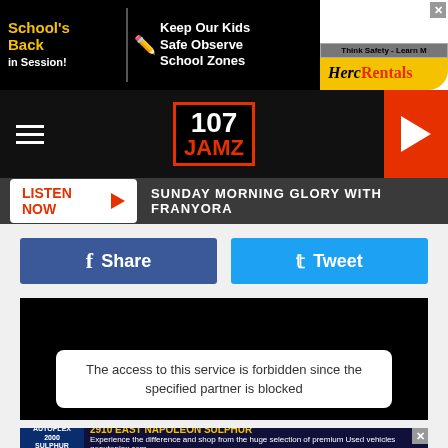[Figure (screenshot): Top banner advertisement: Schools Back in Session with Keep Our Kids Safe Observe School Zones text, and Herc Rentals logo on right]
[Figure (logo): 107 JAMZ radio station logo in nav bar]
LISTEN NOW ▶  SUNDAY MORNING GLORY WITH FRANYORA
[Figure (screenshot): Facebook Share button and Twitter Tweet button]
[Figure (screenshot): Black video player area with error message: The access to this service is forbidden since the specified partner is blocked]
[Figure (screenshot): Bottom advertisement: 2910 EAST NAPOLEON SULPHUR - Autoplex 2000 Sulphur - Experience the difference and shop from the huge selection of premium Used vehicles - goautoplex.com]